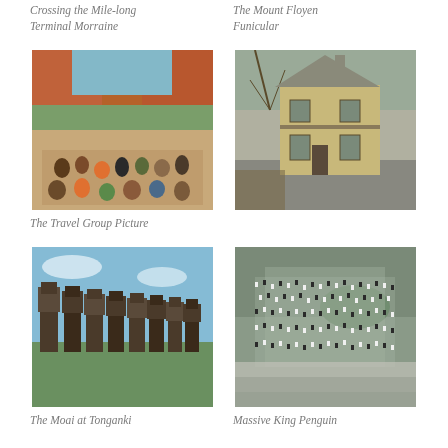Crossing the Mile-long Terminal Morraine
The Mount Floyen Funicular
[Figure (photo): Group of travelers posing in front of red rock canyon landscape with river]
[Figure (photo): Historical yellow building with Victorian architecture and grey courtyard]
The Travel Group Picture
[Figure (photo): Row of Moai statues at Tongariki on Easter Island against blue sky]
[Figure (photo): Massive colony of King Penguins on hillside]
The Moai at Tonganki
Massive King Penguin